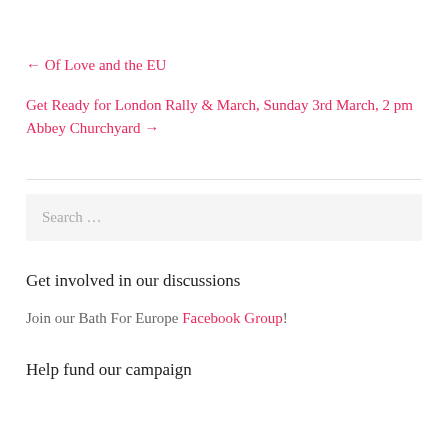← Of Love and the EU
Get Ready for London Rally & March, Sunday 3rd March, 2 pm Abbey Churchyard →
Search …
Get involved in our discussions
Join our Bath For Europe Facebook Group!
Help fund our campaign